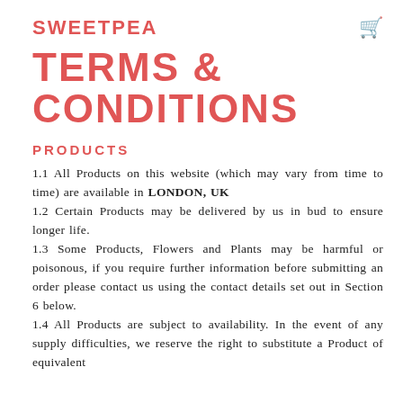SWEETPEA
TERMS & CONDITIONS
PRODUCTS
1.1 All Products on this website (which may vary from time to time) are available in LONDON, UK
1.2 Certain Products may be delivered by us in bud to ensure longer life.
1.3 Some Products, Flowers and Plants may be harmful or poisonous, if you require further information before submitting an order please contact us using the contact details set out in Section 6 below.
1.4 All Products are subject to availability. In the event of any supply difficulties, we reserve the right to substitute a Product of equivalent